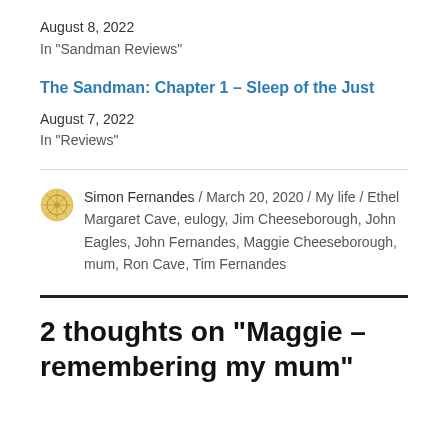August 8, 2022
In "Sandman Reviews"
The Sandman: Chapter 1 – Sleep of the Just
August 7, 2022
In "Reviews"
Simon Fernandes / March 20, 2020 / My life / Ethel Margaret Cave, eulogy, Jim Cheeseborough, John Eagles, John Fernandes, Maggie Cheeseborough, mum, Ron Cave, Tim Fernandes
2 thoughts on “Maggie – remembering my mum”